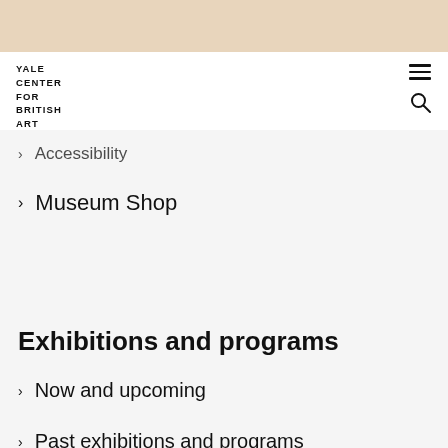YALE CENTER FOR BRITISH ART
Accessibility
Museum Shop
Exhibitions and programs
Now and upcoming
Past exhibitions and programs
Collections
Collections overview